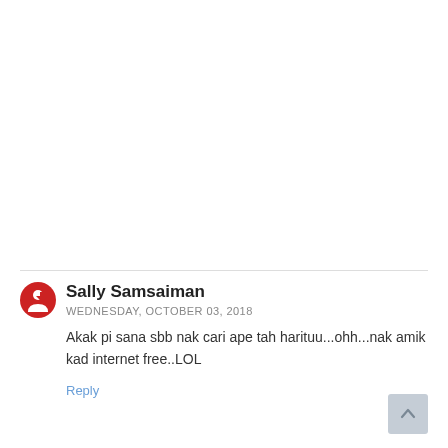[Figure (illustration): Red circular avatar icon with a white stylized figure/arrow, used as a user profile image for Sally Samsaiman]
Sally Samsaiman
WEDNESDAY, OCTOBER 03, 2018
Akak pi sana sbb nak cari ape tah harituu...ohh...nak amik kad internet free..LOL
Reply